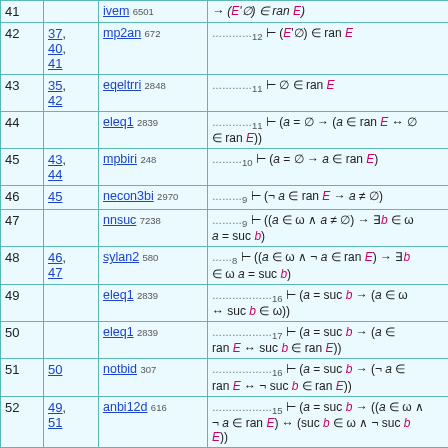| Step | Hyp | Ref | Expression |
| --- | --- | --- | --- |
| 41 |  | ivem 6501 | → (E'∅) ∈ ran E) |
| 42 | 37, 40, 41 | mp2an 672 | …12 ⊢ (E'∅) ∈ ran E |
| 43 | 35, 42 | eqeltrri 2848 | …11 ⊢ ∅ ∈ ran E |
| 44 |  | eleq1 2839 | …11 ⊢ (a = ∅ → (a ∈ ran E ↔ ∅ ∈ ran E)) |
| 45 | 43, 44 | mpbiri 248 | …10 ⊢ (a = ∅ → a ∈ ran E) |
| 46 | 45 | necon3bi 2970 | …9 ⊢ (¬ a ∈ ran E → a ≠ ∅) |
| 47 |  | nnsuc 7238 | …9 ⊢ ((a ∈ ω ∧ a ≠ ∅) → ∃b ∈ ω a = suc b) |
| 48 | 46, 47 | sylan2 580 | …8 ⊢ ((a ∈ ω ∧ ¬ a ∈ ran E) → ∃b ∈ ω a = suc b) |
| 49 |  | eleq1 2839 | …16 ⊢ (a = suc b → (a ∈ ω ↔ suc b ∈ ω)) |
| 50 |  | eleq1 2839 | …17 ⊢ (a = suc b → (a ∈ ran E ↔ suc b ∈ ran E)) |
| 51 | 50 | notbid 307 | …16 ⊢ (a = suc b → (¬ a ∈ ran E ↔ ¬ suc b ∈ ran E)) |
| 52 | 49, 51 | anbi12d 616 | …15 ⊢ (a = suc b → ((a ∈ ω ∧ ¬ a ∈ ran E) ↔ (suc b ∈ ω ∧ ¬ suc b ∈ ran E))) |